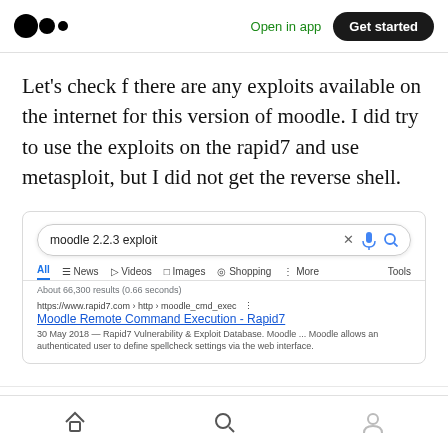Medium logo | Open in app | Get started
Let's check f there are any exploits available on the internet for this version of moodle. I did try to use the exploits on the rapid7 and use metasploit, but I did not get the reverse shell.
[Figure (screenshot): Google search results screenshot showing search query 'moodle 2.2.3 exploit' with a result for 'Moodle Remote Command Execution - Rapid7' from https://www.rapid7.com › http › moodle_cmd_exec, dated 30 May 2018, describing Rapid7 Vulnerability & Exploit Database.]
3. Reverse Shell:
Bottom navigation bar with home, search, and profile icons